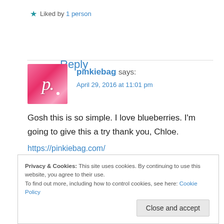★ Liked by 1 person
Reply
pinkiebag says:
April 29, 2016 at 11:01 pm
Gosh this is so simple. I love blueberries. I'm going to give this a try thank you, Chloe.
https://pinkiebag.com/
Privacy & Cookies: This site uses cookies. By continuing to use this website, you agree to their use.
To find out more, including how to control cookies, see here: Cookie Policy
Close and accept